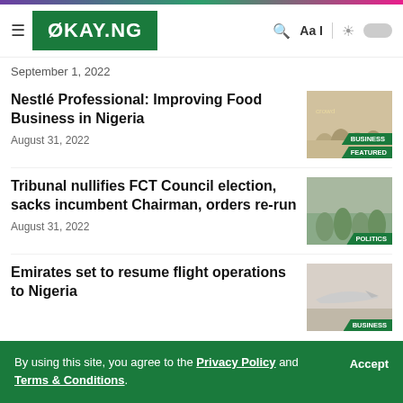OKAY.NG
September 1, 2022
Nestlé Professional: Improving Food Business in Nigeria
August 31, 2022
Tribunal nullifies FCT Council election, sacks incumbent Chairman, orders re-run
August 31, 2022
Emirates set to resume flight operations to Nigeria
By using this site, you agree to the Privacy Policy and Terms & Conditions.
Accept